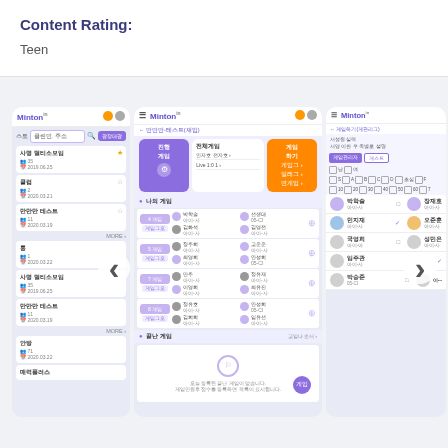Content Rating:
Teen
[Figure (screenshot): Three mobile app screenshots of the Minton app showing game management screens with Korean text. Left screen shows a list view with search bar and game entries. Center screen shows a game management detail with player lists organized by game number. Right screen shows a member management list with checkboxes and player names.]